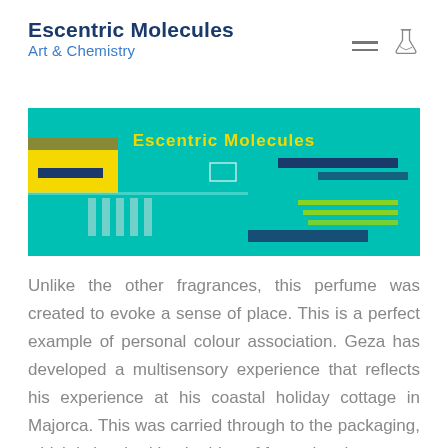Escentric Molecules
Art & Chemistry
[Figure (screenshot): Banner image with teal/cyan background showing 'Escentric Molecules' text in yellow, with decorative blue and yellow geometric shapes and grid elements.]
Unlike the other fragrances, this perfume was created to evoke a sense of place. This is a perfect example of personal colour association. Geza has developed a multisensory experience that reflects his experience at his coastal holiday cottage in Majorca. This was carried through to the packaging, which is inspired by the idea of fracturing the